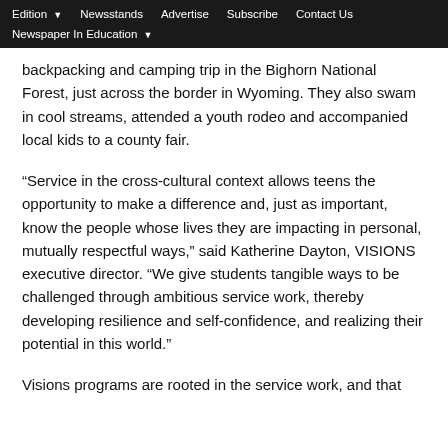Edition  Newsstands  Advertise  Subscribe  Contact Us  Newspaper In Education
backpacking and camping trip in the Bighorn National Forest, just across the border in Wyoming. They also swam in cool streams, attended a youth rodeo and accompanied local kids to a county fair.
“Service in the cross-cultural context allows teens the opportunity to make a difference and, just as important, know the people whose lives they are impacting in personal, mutually respectful ways,” said Katherine Dayton, VISIONS executive director. “We give students tangible ways to be challenged through ambitious service work, thereby developing resilience and self-confidence, and realizing their potential in this world.”
Visions programs are rooted in the service work, and that